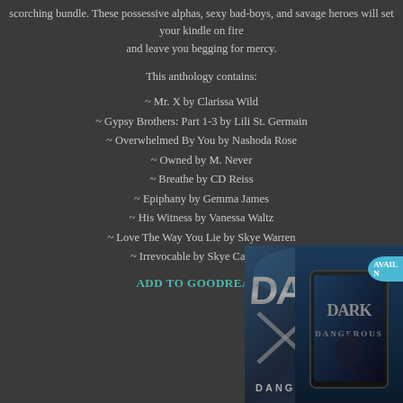scorching bundle. These possessive alphas, sexy bad-boys, and savage he... and leave you begging for mercy.
This anthology contains:
~ Mr. X by Clarissa Wild
~ Gypsy Brothers: Part 1-3 by Lili St. Germain
~ Overwhelmed By You by Nashoda Rose
~ Owned by M. Never
~ Breathe by CD Reiss
~ Epiphany by Gemma James
~ His Witness by Vanessa Waltz
~ Love The Way You Lie by Skye Warren
~ Irrevocable by Skye Callahan
ADD TO GOODREADS
[Figure (photo): Book cover image showing metallic 'Dark' and 'Dangerous' text with a tablet/e-reader displaying the book cover on a dark blue background]